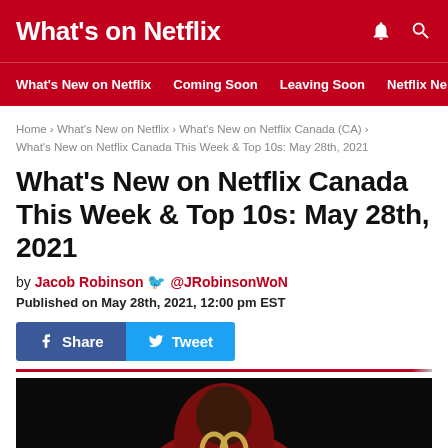What's on Netflix
What's New on Netflix | Coming Soon | Leaving Soon | Netflix Ne
Home › What's New on Netflix › What's New on Netflix Canada (CA) › What's New on Netflix Canada This Week & Top 10s: May 28th, 2021
What's New on Netflix Canada This Week & Top 10s: May 28th, 2021
by Jacob Robinson 🐦 @JRobinsonWoN
Published on May 28th, 2021, 12:00 pm EST
[Figure (screenshot): Share and Tweet buttons (Facebook blue and Twitter blue)]
[Figure (photo): Dark image showing a figure in a red outfit holding golden scissors/keys against a black background]